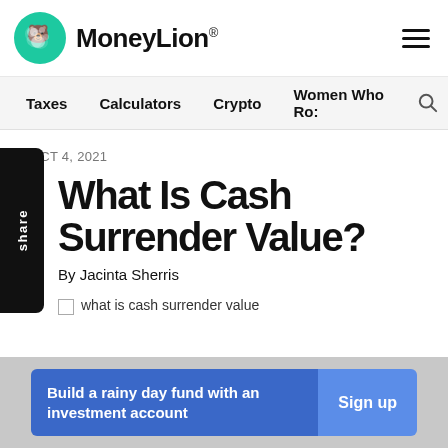MoneyLion
Taxes  Calculators  Crypto  Women Who Ro:
» OCT 4, 2021
What Is Cash Surrender Value?
By Jacinta Sherris
[Figure (photo): Broken image placeholder with alt text: what is cash surrender value]
Build a rainy day fund with an investment account  Sign up